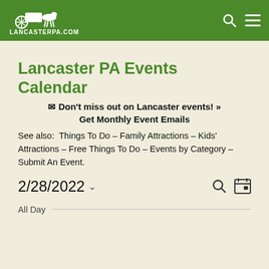LancasterPA.com
Lancaster PA Events Calendar
✉ Don't miss out on Lancaster events! » Get Monthly Event Emails
See also: Things To Do – Family Attractions – Kids' Attractions – Free Things To Do – Events by Category – Submit An Event.
2/28/2022
All Day